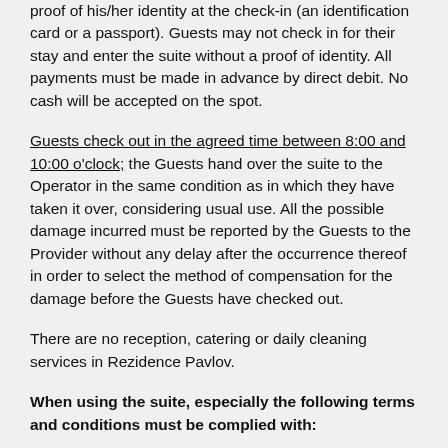proof of his/her identity at the check-in (an identification card or a passport). Guests may not check in for their stay and enter the suite without a proof of identity. All payments must be made in advance by direct debit. No cash will be accepted on the spot.
Guests check out in the agreed time between 8:00 and 10:00 o'clock; the Guests hand over the suite to the Operator in the same condition as in which they have taken it over, considering usual use. All the possible damage incurred must be reported by the Guests to the Provider without any delay after the occurrence thereof in order to select the method of compensation for the damage before the Guests have checked out.
There are no reception, catering or daily cleaning services in Rezidence Pavlov.
When using the suite, especially the following terms and conditions must be complied with: